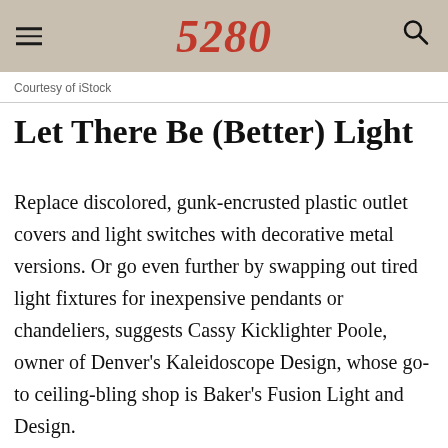5280
Courtesy of iStock
Let There Be (Better) Light
Replace discolored, gunk-encrusted plastic outlet covers and light switches with decorative metal versions. Or go even further by swapping out tired light fixtures for inexpensive pendants or chandeliers, suggests Cassy Kicklighter Poole, owner of Denver's Kaleidoscope Design, whose go-to ceiling-bling shop is Baker's Fusion Light and Design.